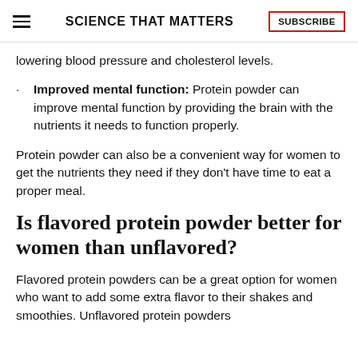SCIENCE THAT MATTERS | SUBSCRIBE
lowering blood pressure and cholesterol levels.
·	Improved mental function: Protein powder can improve mental function by providing the brain with the nutrients it needs to function properly.
Protein powder can also be a convenient way for women to get the nutrients they need if they don't have time to eat a proper meal.
Is flavored protein powder better for women than unflavored?
Flavored protein powders can be a great option for women who want to add some extra flavor to their shakes and smoothies. Unflavored protein powders